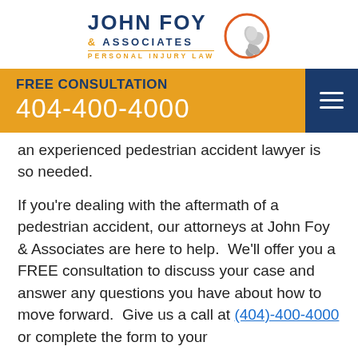[Figure (logo): John Foy & Associates Personal Injury Law logo with flexing arm icon in orange circle]
FREE CONSULTATION 404-400-4000
an experienced pedestrian accident lawyer is so needed.
If you're dealing with the aftermath of a pedestrian accident, our attorneys at John Foy & Associates are here to help.  We'll offer you a FREE consultation to discuss your case and answer any questions you have about how to move forward.  Give us a call at (404)-400-4000 or complete the form to your